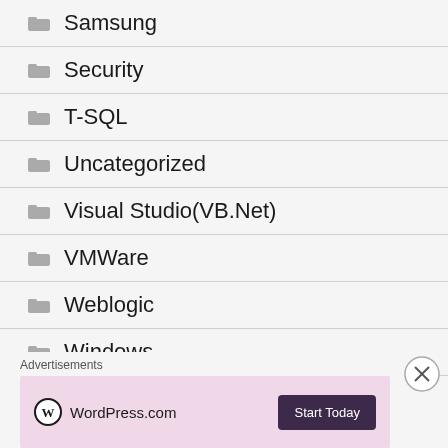Samsung
Security
T-SQL
Uncategorized
Visual Studio(VB.Net)
VMWare
Weblogic
Windows
[Figure (other): WordPress.com advertisement banner with 'Start Today' button and close (X) button]